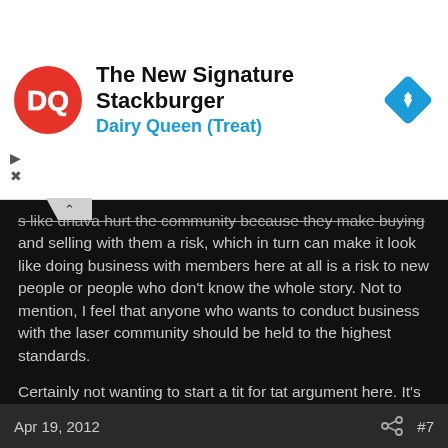[Figure (logo): Dairy Queen ad banner with DQ logo, title 'The New Signature Stackburger', subtitle 'Dairy Queen (Treat)', and a blue diamond navigation icon]
s like drlava hurt the community because they make buying and selling with them a risk, which in turn can make it look like doing business with members here at all is a risk to new people or people who don't know the whole story. Not to mention, I feel that anyone who wants to conduct business with the laser community should be held to the highest standards.
Certainly not wanting to start a tit for tat argument here. It's well known that I will always pop up to post about drlava's history of questionable customer service just as bennett326 and others will post about their own experiences. All I can do is say to all: Caveat Emptor
Last edited: Apr 19, 2012
Apr 19, 2012  #7